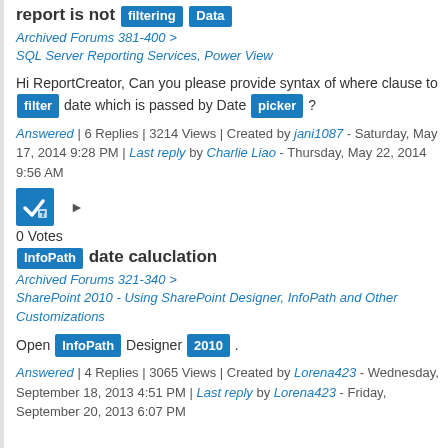report is not filtering Data
Archived Forums 381-400 > SQL Server Reporting Services, Power View
Hi ReportCreator, Can you please provide syntax of where clause to filter date which is passed by Date picker ?
Answered | 6 Replies | 3214 Views | Created by jani1087 - Saturday, May 17, 2014 9:28 PM | Last reply by Charlie Liao - Thursday, May 22, 2014 9:56 AM
0 Votes
InfoPath date caluclation
Archived Forums 321-340 > SharePoint 2010 - Using SharePoint Designer, InfoPath and Other Customizations
Open InfoPath Designer 2010 .
Answered | 4 Replies | 3065 Views | Created by Lorena423 - Wednesday, September 18, 2013 4:51 PM | Last reply by Lorena423 - Friday, September 20, 2013 6:07 PM